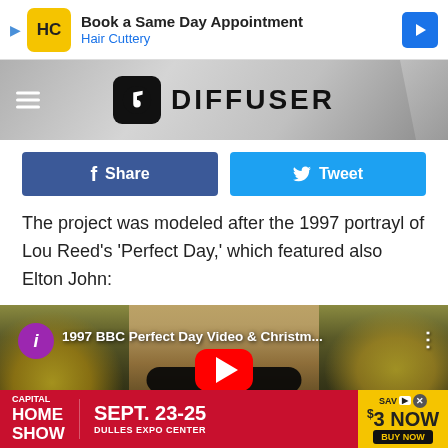[Figure (screenshot): Advertisement banner: Hair Cuttery 'Book a Same Day Appointment' with logo and navigation arrow]
[Figure (screenshot): Diffuser.fm website header with hamburger menu, music note logo icon and DIFFUSER wordmark on gray gradient background]
[Figure (screenshot): Facebook Share button (dark blue) and Twitter Tweet button (light blue)]
The project was modeled after the 1997 portrayl of Lou Reed's 'Perfect Day,' which featured also Elton John:
[Figure (screenshot): YouTube video thumbnail for '1997 BBC Perfect Day Video & Christm...' showing a person with sunglasses among flowers, with purple info icon, red YouTube play button, and three-dot menu]
[Figure (screenshot): Advertisement: Capital Home Show, Sept. 23-25, Dulles Expo Center, Save $3 Now, Buy Now button]